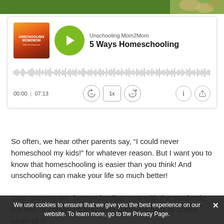[Figure (screenshot): Top banner image strip with green and floral background]
[Figure (screenshot): Podcast player card for 'Unschooling Mom2Mom' episode '5 Ways Homeschooling' with green play button, waveform, time display 00:00 | 07:13, and playback controls]
So often, we hear other parents say, “I could never homeschool my kids!” for whatever reason. But I want you to know that homeschooling is easier than you think! And unschooling can make your life so much better!
Sure, parents are "homeschooling" now with the pandemic, but they’re convinced they want their kids back to school when all th…
We use cookies to ensure that we give you the best experience on our website. To learn more, go to the Privacy Page.